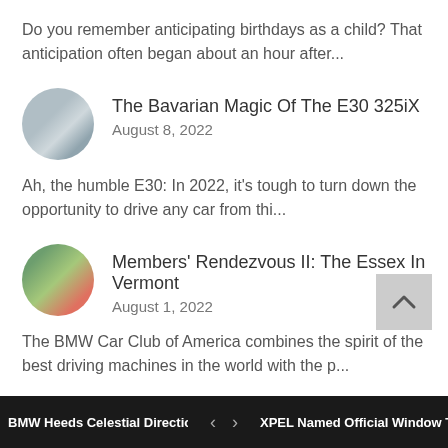Do you remember anticipating birthdays as a child? That anticipation often began about an hour after...
The Bavarian Magic Of The E30 325iX
August 8, 2022
Ah, the humble E30: In 2022, it's tough to turn down the opportunity to drive any car from thi...
Members' Rendezvous II: The Essex In Vermont
August 1, 2022
The BMW Car Club of America combines the spirit of the best driving machines in the world with the p...
BMW Heeds Celestial Direction Fro...  <  >  XPEL Named Official Window Tint ...